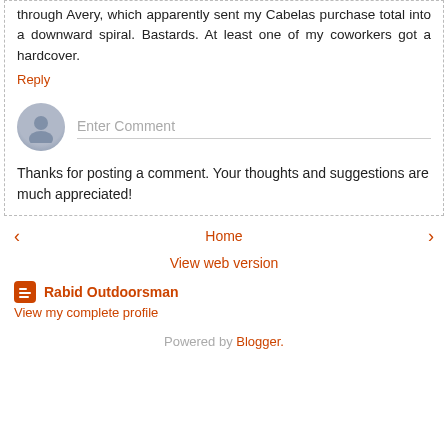through Avery, which apparently sent my Cabelas purchase total into a downward spiral. Bastards. At least one of my coworkers got a hardcover.
Reply
[Figure (other): Comment input area with generic user avatar and 'Enter Comment' placeholder text input field]
Thanks for posting a comment. Your thoughts and suggestions are much appreciated!
‹   Home   ›
View web version
Rabid Outdoorsman
View my complete profile
Powered by Blogger.